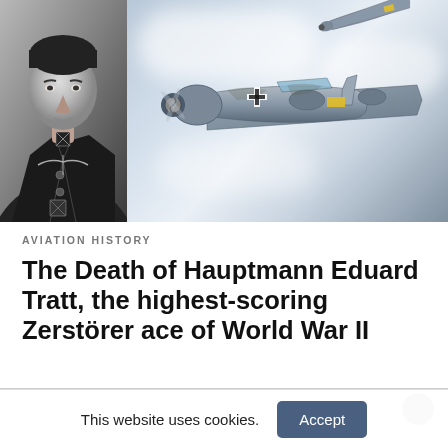[Figure (photo): Left: black and white portrait photograph of Hauptmann Eduard Tratt in Luftwaffe uniform with decorations including Knight's Cross. Right: color illustration/painting of a WWII German Bf 110 Zerstörer twin-engine fighter aircraft in flight against cloudy sky backdrop.]
AVIATION HISTORY
The Death of Hauptmann Eduard Tratt, the highest-scoring Zerstörer ace of World War II
This website uses cookies.